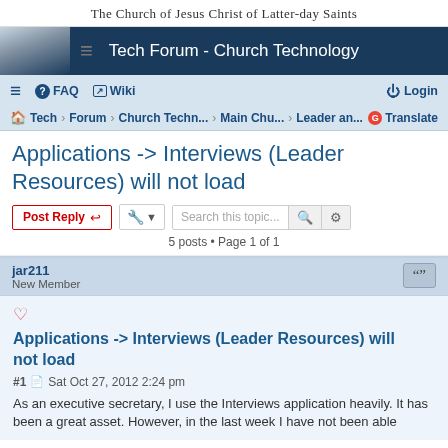The Church of Jesus Christ of Latter-day Saints
Tech Forum - Church Technology
≡  FAQ  Wiki  Login
Tech › Forum › Church Techn... › Main Chu... › Leader an...  Translate
Applications -> Interviews (Leader Resources) will not load
Post Reply  [tools]  Search this topic...  5 posts • Page 1 of 1
jar211
New Member
Applications -> Interviews (Leader Resources) will not load
#1  Sat Oct 27, 2012 2:24 pm
As an executive secretary, I use the Interviews application heavily. It has been a great asset. However, in the last week I have not been able